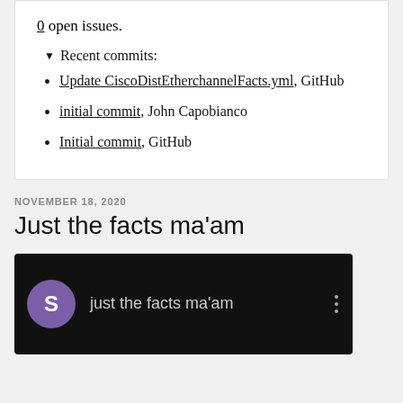0 open issues.
▼ Recent commits:
Update CiscoDistEtherchannelFacts.yml , GitHub
initial commit, John Capobianco
Initial commit, GitHub
NOVEMBER 18, 2020
Just the facts ma'am
[Figure (screenshot): Video player thumbnail with purple avatar circle containing letter S, text 'just the facts ma'am', and three vertical dots menu icon on black background]